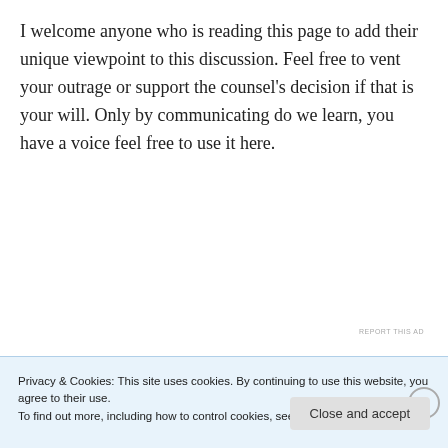I welcome anyone who is reading this page to add their unique viewpoint to this discussion. Feel free to vent your outrage or support the counsel's decision if that is your will. Only by communicating do we learn, you have a voice feel free to use it here.
[Figure (screenshot): WordPress app advertisement banner: 'Build a writing habit. Post on the go.' with GET THE APP button and WordPress logo]
REPORT THIS AD
Privacy & Cookies: This site uses cookies. By continuing to use this website, you agree to their use.
To find out more, including how to control cookies, see here: Cookie Policy